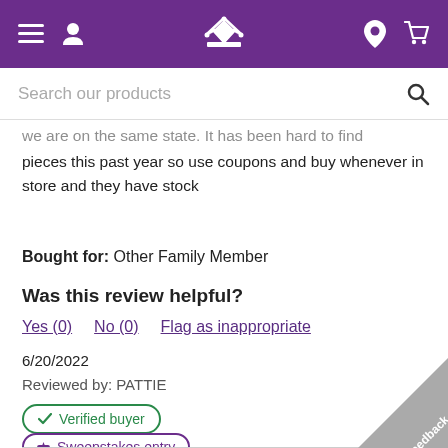Navigation bar with menu, user, crown logo, location, and cart icons
Search our products
we are on the same state. It has been hard to find pieces this past year so use coupons and buy whenever in store and they have stock
Bought for: Other Family Member
Was this review helpful?
Yes (0)   No (0)   Flag as inappropriate
6/20/2022
Reviewed by: PATTIE
✔ Verified buyer
🏷 Sweepstakes entry